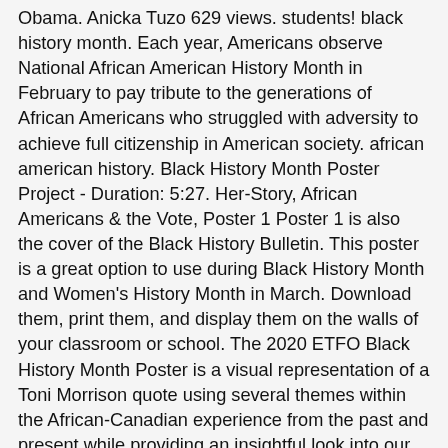Obama. Anicka Tuzo 629 views. students! black history month. Each year, Americans observe National African American History Month in February to pay tribute to the generations of African Americans who struggled with adversity to achieve full citizenship in American society. african american history. Black History Month Poster Project - Duration: 5:27. Her-Story, African Americans & the Vote, Poster 1 Poster 1 is also the cover of the Black History Bulletin. This poster is a great option to use during Black History Month and Women's History Month in March. Download them, print them, and display them on the walls of your classroom or school. The 2020 ETFO Black History Month Poster is a visual representation of a Toni Morrison quote using several themes within the African-Canadian experience from the past and present while providing an insightful look into our future. The subject of the essay may be living or deceased. Brehms Lane Black History Month Celebration: Part 1 - PROJECTS! Black History Month Student Poster Contest . Black History Month 2019 is the central point of focus for a celebration of black history arts and culture in